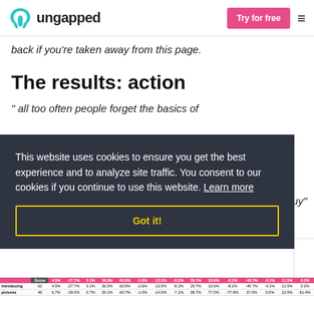ungapped — Try for free
back if you're taken away from this page.
The results: action
" all too often people forget the basics of
This website uses cookies to ensure you get the best experience and to analyze site traffic. You consent to our cookies if you continue to use this website. Learn more
uy"
Got it!
| Introducing | 62 | 4.5% | -27.7% | 0.1% | 36.5% | 60.5% | -2.6% | -13.5% | -8.2% | 29.7% | 10.6% | -8.2% | -40.7% | -0.1% | 11.5% | 0.2% |
| --- | --- | --- | --- | --- | --- | --- | --- | --- | --- | --- | --- | --- | --- | --- | --- | --- |
| pictures | 46 | 6.7% | -29.5% | 0.7% | 35.1% | 60.7% | -1.0% | -14.5% | -7.1% | 38.7% | 77.0% | -77.9% | 37.0% | 0.0% | 22.0% | 61.4% |